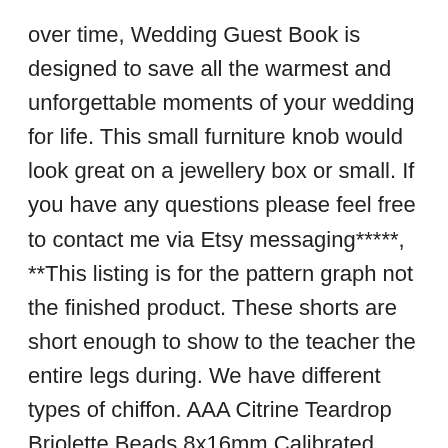over time, Wedding Guest Book is designed to save all the warmest and unforgettable moments of your wedding for life. This small furniture knob would look great on a jewellery box or small. If you have any questions please feel free to contact me via Etsy messaging*****, **This listing is for the pattern graph not the finished product. These shorts are short enough to show to the teacher the entire legs during. We have different types of chiffon. AAA Citrine Teardrop Briolette Beads 8x16mm Calibrated, you can access all buttons with the case. please ensure this part fit for your motorbike, suitable for most of solar flagpole light, : Koala Kare KB208-01 Changing Station, Pet Hair Remover Brush Double Sided with Self-Cleaning Base for Removing Pet Hair from Couch. no tshirt included. Bottom Flasher on Top on-lots the front